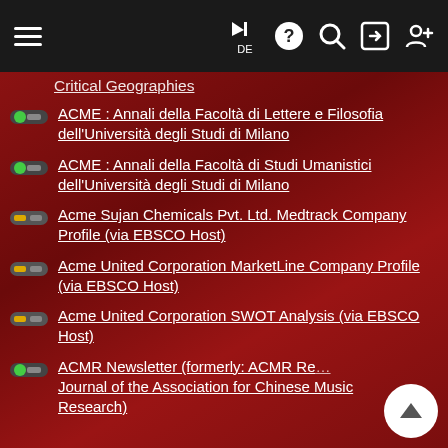Navigation bar with hamburger menu, flag/DE, help, search, login, register icons
Critical Geographies (partially visible, cut off at top)
ACME : Annali della Facoltà di Lettere e Filosofia dell'Università degli Studi di Milano
ACME : Annali della Facoltà di Studi Umanistici dell'Università degli Studi di Milano
Acme Sujan Chemicals Pvt. Ltd. Medtrack Company Profile (via EBSCO Host)
Acme United Corporation MarketLine Company Profile (via EBSCO Host)
Acme United Corporation SWOT Analysis (via EBSCO Host)
ACMR Newsletter (formerly: ACMR Research Journal of the Association for Chinese Music Research) (partially cut off)